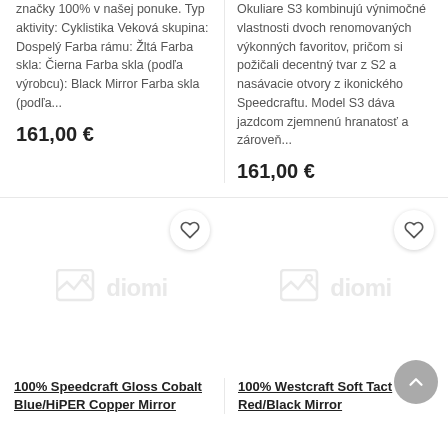značky 100% v našej ponuke. Typ aktivity: Cyklistika Veková skupina: Dospelý Farba rámu: Žltá Farba skla: Čierna Farba skla (podľa výrobcu): Black Mirror Farba skla (podľa...
161,00 €
Okuliare S3 kombinujú výnimočné vlastnosti dvoch renomovaných výkonných favoritov, pričom si požičali decentný tvar z S2 a nasávacie otvory z ikonického Speedcraftu. Model S3 dáva jazdcom zjemnenú hranatosť a zároveň...
161,00 €
[Figure (photo): Diomi placeholder image for 100% Speedcraft Gloss Cobalt Blue/HiPER Copper Mirror product]
100% Speedcraft Gloss Cobalt Blue/HiPER Copper Mirror
[Figure (photo): Diomi placeholder image for 100% Westcraft Soft Tact Red/Black Mirror product]
100% Westcraft Soft Tact Red/Black Mirror